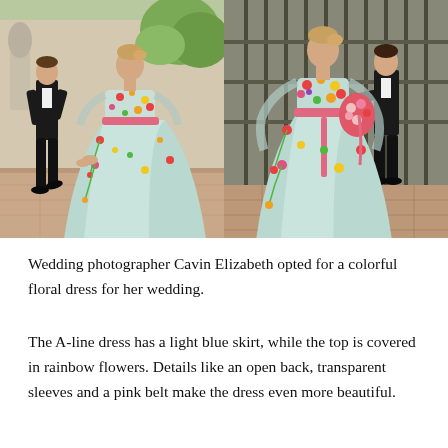[Figure (photo): Two side-by-side wedding photos showing a bride in a light blue A-line gown with colorful floral appliqués on the bodice and skirt. Left photo: bride and groom walking hand-in-hand outdoors. Right photo: couple embracing in front of ornate iron gates.]
Wedding photographer Cavin Elizabeth opted for a colorful floral dress for her wedding.
The A-line dress has a light blue skirt, while the top is covered in rainbow flowers. Details like an open back, transparent sleeves and a pink belt make the dress even more beautiful.